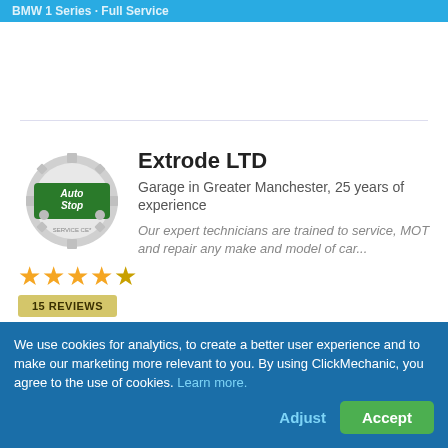BMW 1 Series · Full Service
[Figure (logo): AutoStop Service Centre gear logo with green badge]
Extrode LTD
Garage in Greater Manchester, 25 years of experience
Our expert technicians are trained to service, MOT and repair any make and model of car...
★★★★½ 15 REVIEWS
View profile
Get my instant price
We use cookies for analytics, to create a better user experience and to make our marketing more relevant to you. By using ClickMechanic, you agree to the use of cookies. Learn more.
Adjust
Accept